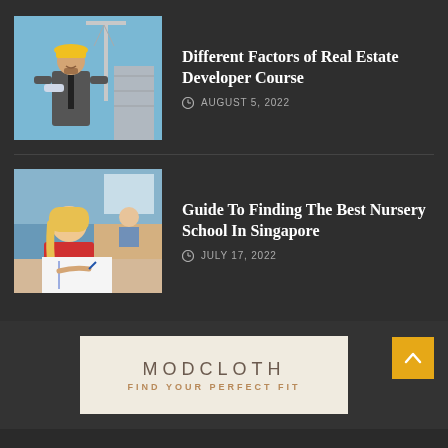[Figure (photo): Construction worker/developer in suit wearing yellow hard hat, holding blueprints, at a construction site with cranes in background]
Different Factors of Real Estate Developer Course
AUGUST 5, 2022
[Figure (photo): Students in a classroom, young girl in red shirt writing in notebook, other students visible in background]
Guide To Finding The Best Nursery School In Singapore
JULY 17, 2022
[Figure (other): Modcloth advertisement banner with text MODCLOTH and FIND YOUR PERFECT FIT on a beige/cream background]